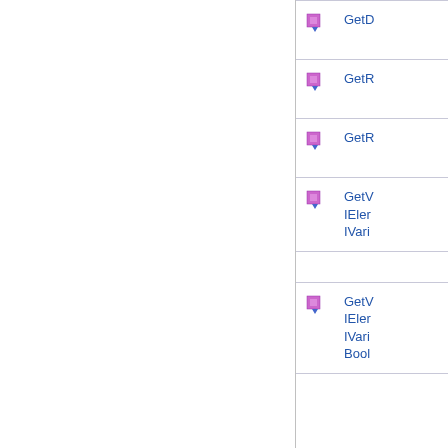GetD
GetR
GetR
GetV IEler IVari
GetV IEler IVari Bool